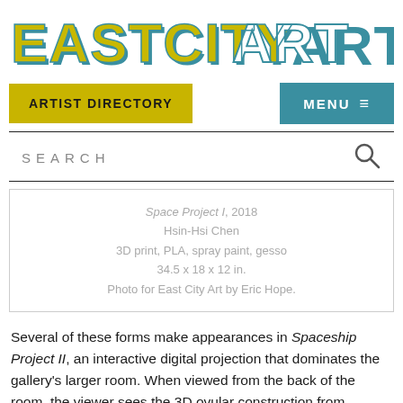[Figure (logo): EastCityArt logo in large block letters with yellow and teal drop-shadow effect, white fill with teal borders]
ARTIST DIRECTORY
MENU ≡
SEARCH
Space Project I, 2018
Hsin-Hsi Chen
3D print, PLA, spray paint, gesso
34.5 x 18 x 12 in.
Photo for East City Art by Eric Hope.
Several of these forms make appearances in Spaceship Project II, an interactive digital projection that dominates the gallery's larger room.  When viewed from the back of the room, the viewer sees the 3D ovular construction from